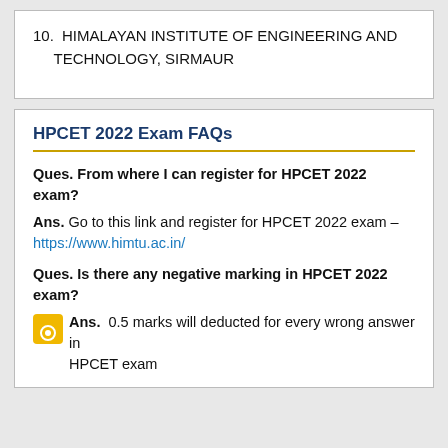10. HIMALAYAN INSTITUTE OF ENGINEERING AND TECHNOLOGY, SIRMAUR
HPCET 2022 Exam FAQs
Ques. From where I can register for HPCET 2022 exam?
Ans. Go to this link and register for HPCET 2022 exam – https://www.himtu.ac.in/
Ques. Is there any negative marking in HPCET 2022 exam?
Ans. 0.5 marks will deducted for every wrong answer in HPCET exam